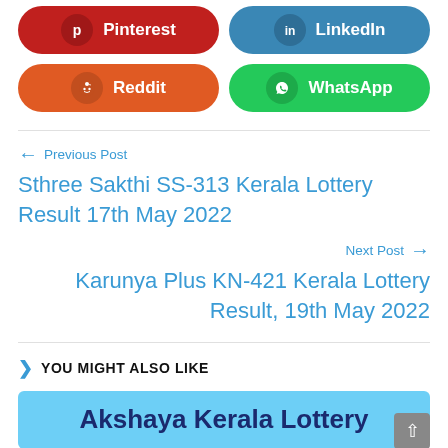[Figure (infographic): Social share buttons: Pinterest (red), LinkedIn (blue)]
[Figure (infographic): Social share buttons: Reddit (orange), WhatsApp (green)]
← Previous Post
Sthree Sakthi SS-313 Kerala Lottery Result 17th May 2022
Next Post →
Karunya Plus KN-421 Kerala Lottery Result, 19th May 2022
YOU MIGHT ALSO LIKE
[Figure (infographic): Card with text: Akshaya Kerala Lottery on light blue background]